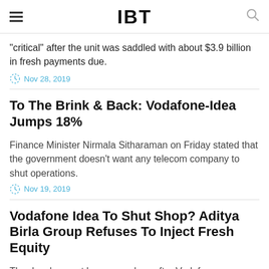IBT
"critical" after the unit was saddled with about $3.9 billion in fresh payments due.
Nov 28, 2019
To The Brink & Back: Vodafone-Idea Jumps 18%
Finance Minister Nirmala Sitharaman on Friday stated that the government doesn't want any telecom company to shut operations.
Nov 19, 2019
Vodafone Idea To Shut Shop? Aditya Birla Group Refuses To Inject Fresh Equity
The development has come days after Vodafone